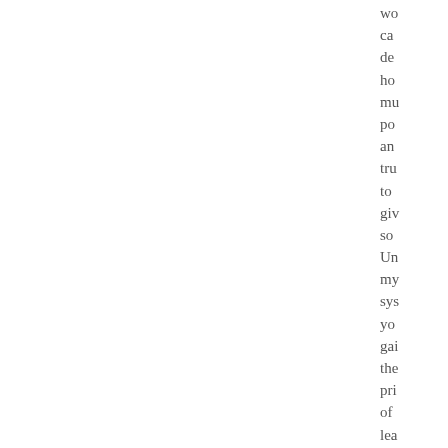we can decide how much power and trust to give someone. Under my system, you gain the privilege of leaving your own operation at the...